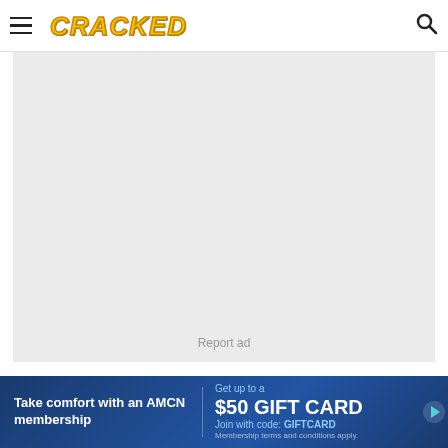CRACKED
[Figure (other): Advertisement placeholder box with 'Report ad' text]
Keep in mind that this is an insignificant amount of time we're talking about here. It has absolutely no
[Figure (other): Bottom banner ad: Take comfort with an AMCN membership / Get up to a $50 GIFT CARD Join with code: GIFTCARD / Membership terms and conditions apply]